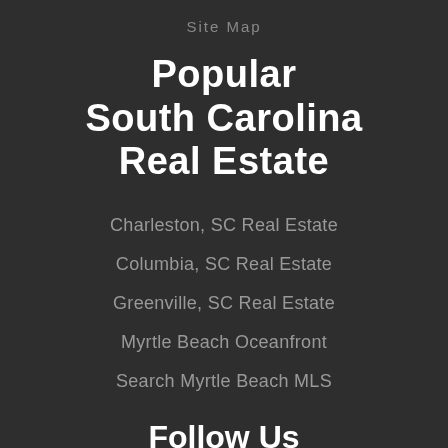Site Map
Popular South Carolina Real Estate
Charleston, SC Real Estate
Columbia, SC Real Estate
Greenville, SC Real Estate
Myrtle Beach Oceanfront
Search Myrtle Beach MLS
Follow Us